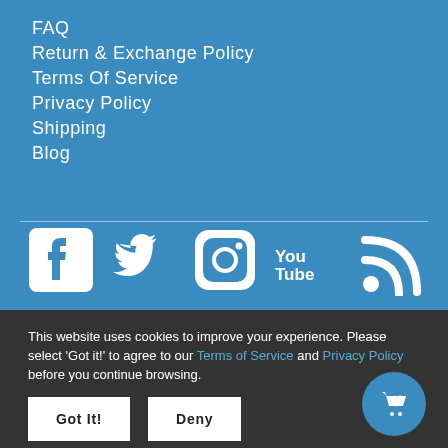FAQ
Return & Exchange Policy
Terms Of Service
Privacy Policy
Shipping
Blog
[Figure (illustration): Social media icons: Facebook, Twitter, Instagram, YouTube, RSS feed — white icons on blue background]
This website uses cookies to improve your experience. Please select 'Got it!' to agree to our Terms of Service and Privacy Policy before you continue browsing.
Got It!  Deny